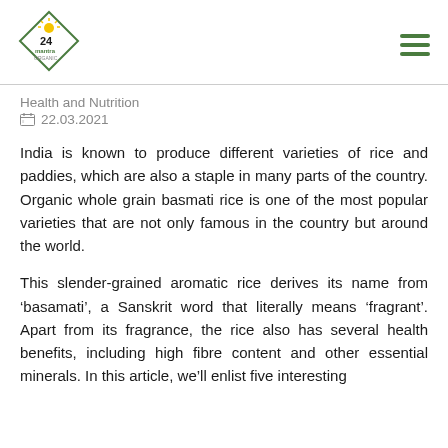24 Mantra Organic logo and navigation
Health and Nutrition
22.03.2021
India is known to produce different varieties of rice and paddies, which are also a staple in many parts of the country. Organic whole grain basmati rice is one of the most popular varieties that are not only famous in the country but around the world.
This slender-grained aromatic rice derives its name from ‘basamati’, a Sanskrit word that literally means ‘fragrant’. Apart from its fragrance, the rice also has several health benefits, including high fibre content and other essential minerals. In this article, we’ll enlist five interesting nutritional facts about basmati rice nutrition.